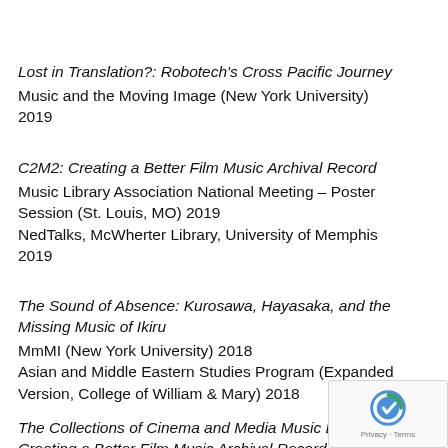Lost in Translation?: Robotech's Cross Pacific Journey
Music and the Moving Image (New York University) 2019
C2M2: Creating a Better Film Music Archival Record
Music Library Association National Meeting – Poster Session (St. Louis, MO) 2019
NedTalks, McWherter Library, University of Memphis 2019
The Sound of Absence: Kurosawa, Hayasaka, and the Missing Music of Ikiru
MmMI (New York University) 2018
Asian and Middle Eastern Studies Program (Expanded Version, College of William & Mary) 2018
The Collections of Cinema and Media Music Database: Creating a Better Film Music Archival Record
Sources and Archives in Screen Sound Studies (Univers...